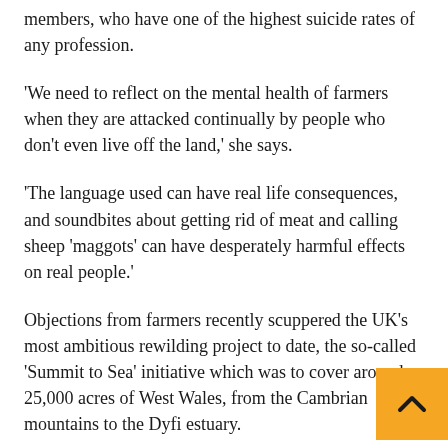members, who have one of the highest suicide rates of any profession.
'We need to reflect on the mental health of farmers when they are attacked continually by people who don't even live off the land,' she says.
'The language used can have real life consequences, and soundbites about getting rid of meat and calling sheep 'maggots' can have desperately harmful effects on real people.'
Objections from farmers recently scuppered the UK's most ambitious rewilding project to date, the so-called 'Summit to Sea' initiative which was to cover around 25,000 acres of West Wales, from the Cambrian mountains to the Dyfi estuary.
It was to have been funded by a £3.4 million grant, originally from the Tetra Pak heiress Lisbet Rausing who dreamed of a dramatic 'expansion of populations of species like pine martens, horseshoe bats and merlins' via a